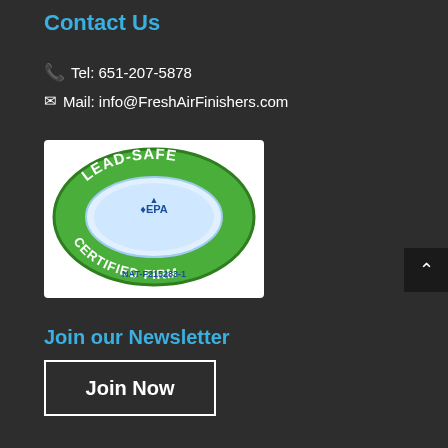Contact Us
Tel: 651-207-5878
Mail: info@FreshAirFinishers.com
[Figure (logo): EPA Lead-Safe Certified Firm badge with green oval background, white inner oval, blue EPA logo with leaf symbol, text LEAD-SAFE at top, CERTIFIED FIRM at bottom, certification number NAT-F215283-1]
Join our Newsletter
Join Now